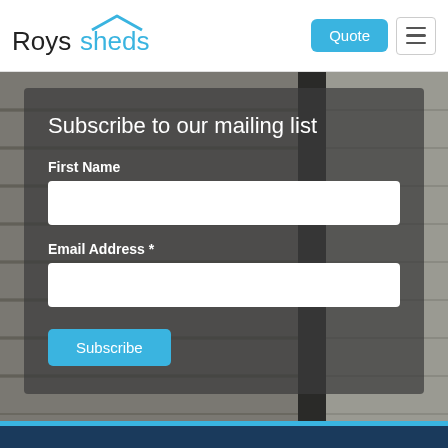[Figure (logo): Roys sheds logo with blue house/roof icon above the word 'sheds']
Quote
[Figure (other): Hamburger menu icon with three horizontal lines]
[Figure (photo): Background photo of shed exterior with dark metal/wood panel siding]
Subscribe to our mailing list
First Name
Email Address *
Subscribe